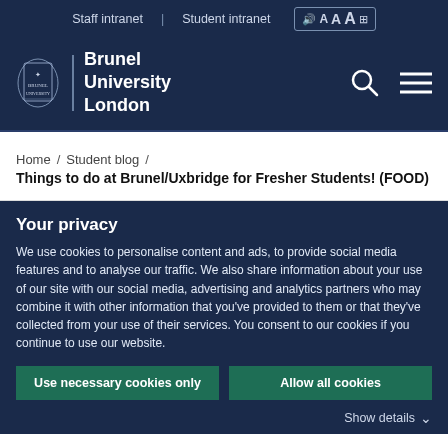Staff intranet | Student intranet
[Figure (logo): Brunel University London logo with crest]
Home / Student blog / Things to do at Brunel/Uxbridge for Fresher Students! (FOOD)
Your privacy
We use cookies to personalise content and ads, to provide social media features and to analyse our traffic. We also share information about your use of our site with our social media, advertising and analytics partners who may combine it with other information that you've provided to them or that they've collected from your use of their services. You consent to our cookies if you continue to use our website.
Use necessary cookies only
Allow all cookies
Show details